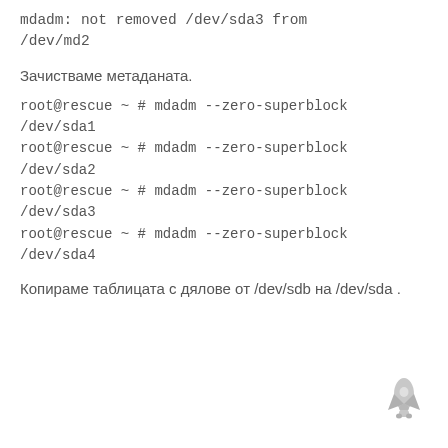mdadm: not removed /dev/sda3 from /dev/md2
Зачистваме метаданата.
root@rescue ~ # mdadm --zero-superblock /dev/sda1
root@rescue ~ # mdadm --zero-superblock /dev/sda2
root@rescue ~ # mdadm --zero-superblock /dev/sda3
root@rescue ~ # mdadm --zero-superblock /dev/sda4
Копираме таблицата с дялове от /dev/sdb на /dev/sda .